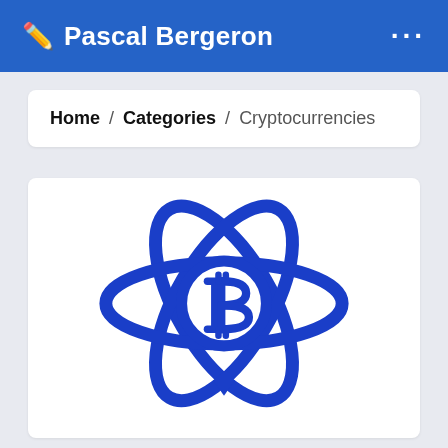✏️ Pascal Bergeron
Home / Categories / Cryptocurrencies
[Figure (logo): Cryptocurrency logo combining a React-style atomic orbit symbol with a Bitcoin 'B' symbol in the center, rendered in blue outline style on white background]